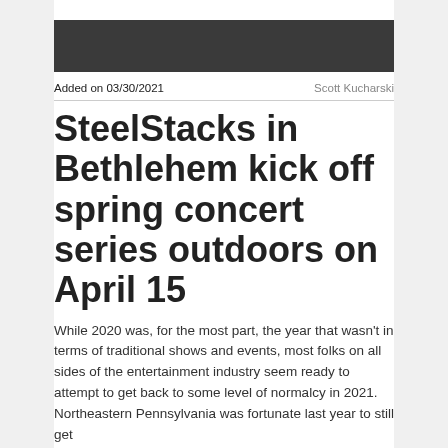[Figure (other): Dark gray rectangular banner image at the top of the article]
Added on 03/30/2021    Scott Kucharski
SteelStacks in Bethlehem kick off spring concert series outdoors on April 15
While 2020 was, for the most part, the year that wasn't in terms of traditional shows and events, most folks on all sides of the entertainment industry seem ready to attempt to get back to some level of normalcy in 2021. Northeastern Pennsylvania was fortunate last year to still get